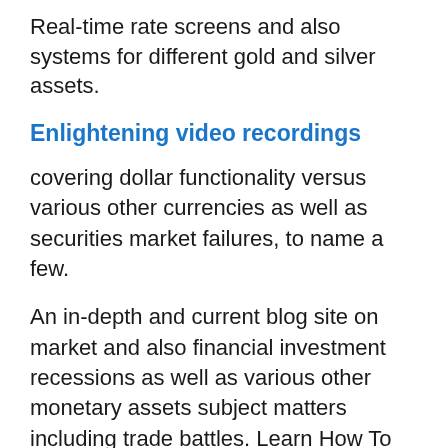Real-time rate screens and also systems for different gold and silver assets.
Enlightening video recordings
covering dollar functionality versus various other currencies as well as securities market failures, to name a few.
An in-depth and current blog site on market and also financial investment recessions as well as various other monetary assets subject matters including trade battles. Learn How To Invest In Gold
Quickly request your cost-free individual retirement account manual from goldco’s internet site.